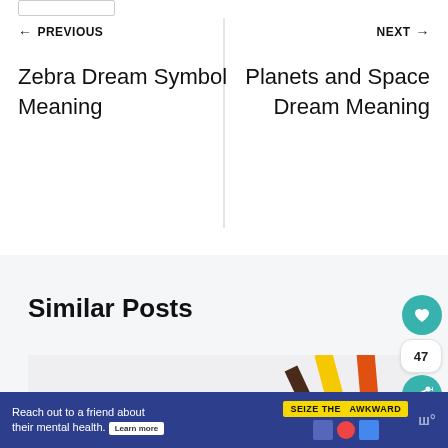← PREVIOUS
Zebra Dream Symbol Meaning
NEXT →
Planets and Space Dream Meaning
Similar Posts
[Figure (photo): Partial view of colored pencils on a snowy/white background]
Reach out to a friend about their mental health. Learn more | SEIZE THE AWKWARD